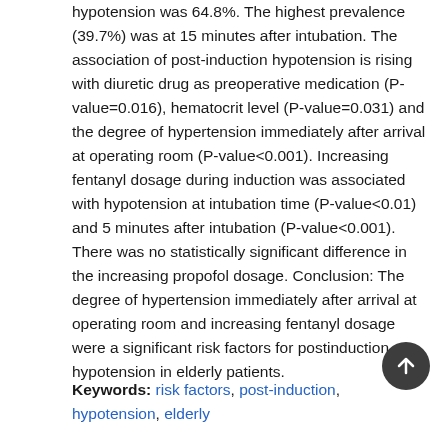hypotension was 64.8%. The highest prevalence (39.7%) was at 15 minutes after intubation. The association of post-induction hypotension is rising with diuretic drug as preoperative medication (P-value=0.016), hematocrit level (P-value=0.031) and the degree of hypertension immediately after arrival at operating room (P-value<0.001). Increasing fentanyl dosage during induction was associated with hypotension at intubation time (P-value<0.01) and 5 minutes after intubation (P-value<0.001). There was no statistically significant difference in the increasing propofol dosage. Conclusion: The degree of hypertension immediately after arrival at operating room and increasing fentanyl dosage were a significant risk factors for postinduction hypotension in elderly patients.
Keywords: risk factors, post-induction, hypotension, elderly